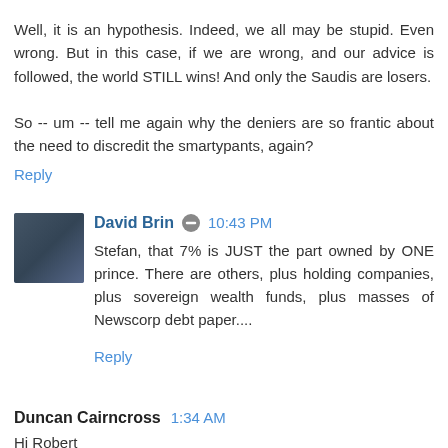Well, it is an hypothesis. Indeed, we all may be stupid. Even wrong. But in this case, if we are wrong, and our advice is followed, the world STILL wins! And only the Saudis are losers.

So -- um -- tell me again why the deniers are so frantic about the need to discredit the smartypants, again?
Reply
David Brin  10:43 PM
Stefan, that 7% is JUST the part owned by ONE prince. There are others, plus holding companies, plus sovereign wealth funds, plus masses of Newscorp debt paper....
Reply
Duncan Cairncross  1:34 AM
Hi Robert
This is an excellent paper using MEASUREMENTS not